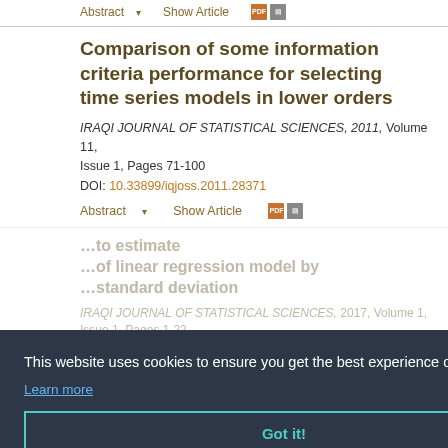Abstract ▾   Show Article
Comparison of some information criteria performance for selecting time series models in lower orders
IRAQI JOURNAL OF STATISTICAL SCIENCES, 2011, Volume 11, Issue 1, Pages 71-100
DOI: 10.33899/iqjoss.2011.28371
Abstract ▾   Show Article
This website uses cookies to ensure you get the best experience on our website
Learn more
Got it!